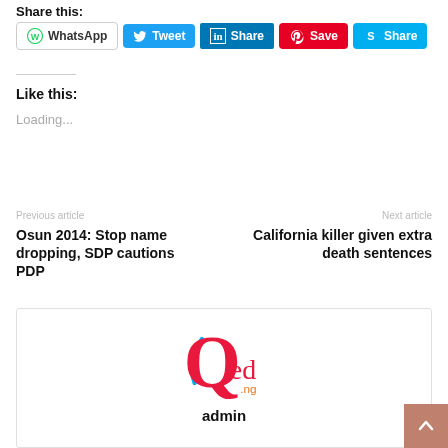Share this:
[Figure (screenshot): Social sharing buttons: WhatsApp, Tweet, Share (LinkedIn), Save (Pinterest), Share (Skype)]
Like this:
Loading...
Previous article
Osun 2014: Stop name dropping, SDP cautions PDP
Next article
California killer given extra death sentences
[Figure (logo): QED.ng logo — red Q with blue arc and 'ed' in red lowercase and '.ng' in orange]